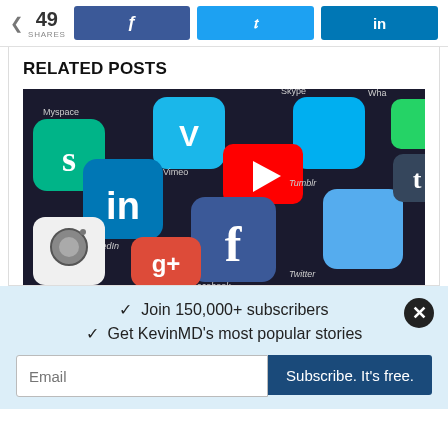49 SHARES
[Figure (screenshot): Social media app icons including Vine, Vimeo, Myspace, Skype, LinkedIn, YouTube, Facebook, Twitter, Instagram, Google+, Tumblr, WhatsApp on a dark background]
RELATED POSTS
✓  Join 150,000+ subscribers
✓  Get KevinMD's most popular stories
Email
Subscribe. It's free.